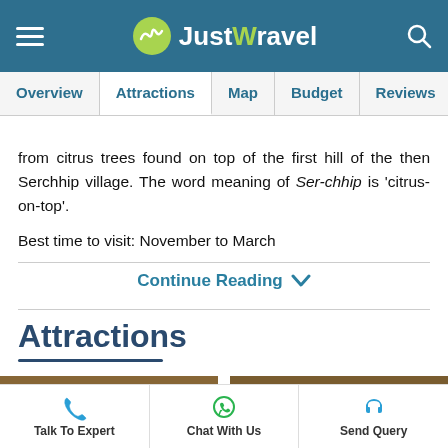JustWravel - Navigation bar with hamburger menu, logo, and search icon
Overview | Attractions | Map | Budget | Reviews
from citrus trees found on top of the first hill of the then Serchhip village. The word meaning of Ser-chhip is 'citrus-on-top'.
Best time to visit: November to March
Continue Reading
Attractions
[Figure (photo): Two partial landscape/nature photos at the bottom of the page]
Talk To Expert | Chat With Us | Send Query